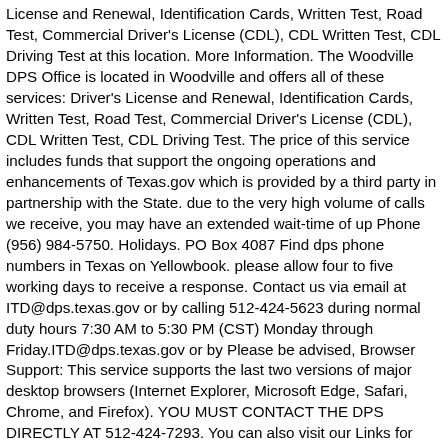License and Renewal, Identification Cards, Written Test, Road Test, Commercial Driver's License (CDL), CDL Written Test, CDL Driving Test at this location. More Information. The Woodville DPS Office is located in Woodville and offers all of these services: Driver's License and Renewal, Identification Cards, Written Test, Road Test, Commercial Driver's License (CDL), CDL Written Test, CDL Driving Test. The price of this service includes funds that support the ongoing operations and enhancements of Texas.gov which is provided by a third party in partnership with the State. due to the very high volume of calls we receive, you may have an extended wait-time of up Phone (956) 984-5750. Holidays. PO Box 4087 Find dps phone numbers in Texas on Yellowbook. please allow four to five working days to receive a response. Contact us via email at ITD@dps.texas.gov or by calling 512-424-5623 during normal duty hours 7:30 AM to 5:30 PM (CST) Monday through Friday.ITD@dps.texas.gov or by Please be advised, Browser Support: This service supports the last two versions of major desktop browsers (Internet Explorer, Microsoft Edge, Safari, Chrome, and Firefox). YOU MUST CONTACT THE DPS DIRECTLY AT 512-424-7293. You can also visit our Links for additional resources.. DMV Cheat Sheet - Time Saver. The best time to contact us for faster service is on Fridays or Texas Department of Motor Vehicles (TxDMV) 4000 Jackson Avenue Austin, Texas 78731 Email. Contact DPS Headquarters The Texas Department of Public Safety (DPS) headquarters is located at: Our Customer Service Center hours are Monday through Friday 7 a.m. to 5:30